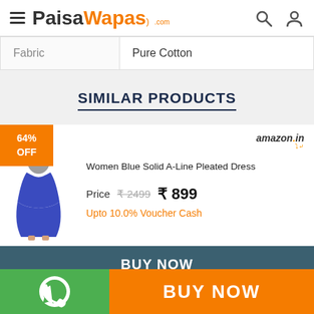PaisaWapas.com
| Fabric | Pure Cotton |
| --- | --- |
SIMILAR PRODUCTS
Women Blue Solid A-Line Pleated Dress
Price ₹2499 ₹899
Upto 10.0% Voucher Cash
BUY NOW
BUY NOW